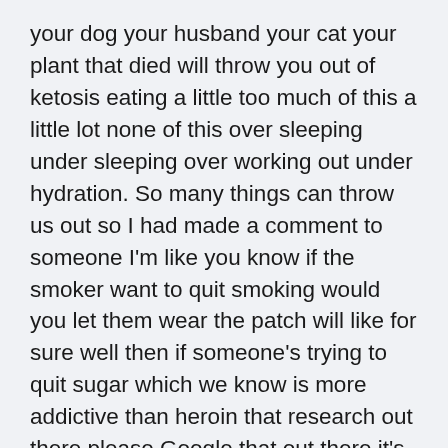your dog your husband your cat your plant that died will throw you out of ketosis eating a little too much of this a little lot none of this over sleeping under sleeping over working out under hydration. So many things can throw us out so I had made a comment to someone I'm like you know if the smoker want to quit smoking would you let them wear the patch will like for sure well then if someone's trying to quit sugar which we know is more addictive than heroin that research out there please Google that out there it's something I'm read and just repeating I didn't do the study myself but we know that exogenously tones take away cravings they give more energy at the cellular level, they help bounce out neurotransmitters, they down regulate our excitatory addictive hormones that seems pretty simple to me if you're having trouble staying on a low sugar no sugar diet that it makes sense and it's an amazing tool to use to help your body out again if you ask people how many people are tired how many